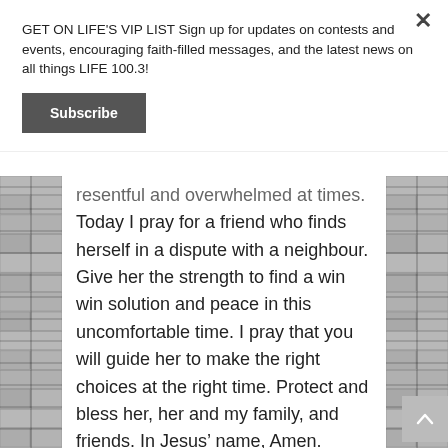GET ON LIFE'S VIP LIST Sign up for updates on contests and events, encouraging faith-filled messages, and the latest news on all things LIFE 100.3!
Subscribe
resentful and overwhelmed at times. Today I pray for a friend who finds herself in a dispute with a neighbour. Give her the strength to find a win win solution and peace in this uncomfortable time. I pray that you will guide her to make the right choices at the right time. Protect and bless her, her and my family, and friends. In Jesus' name, Amen.
Posted on June 28th, 2021